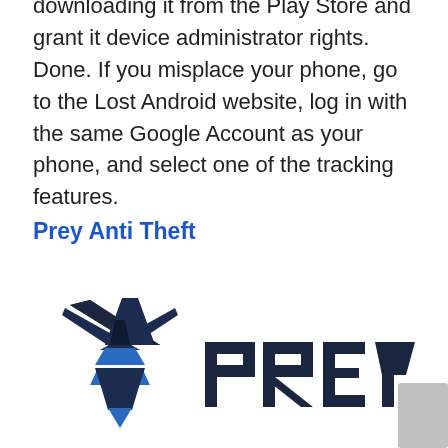downloading it from the Play Store and grant it device administrator rights. Done. If you misplace your phone, go to the Lost Android website, log in with the same Google Account as your phone, and select one of the tracking features.
Prey Anti Theft
[Figure (logo): Prey Anti Theft logo: a dark navy winged emblem with blue accents on the left, and the word 'prey' in bold dark blocky letters on the right]